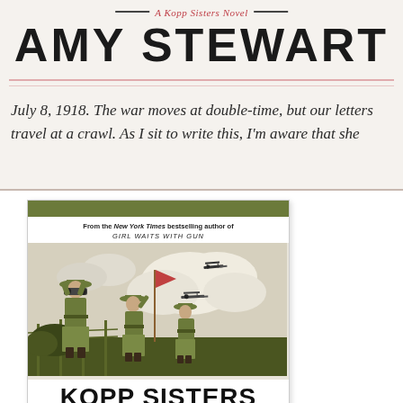— A Kopp Sisters Novel —
AMY STEWART
July 8, 1918. The war moves at double-time, but our letters travel at a crawl. As I sit to write this, I'm aware that she...
[Figure (illustration): Book cover for 'Kopp Sisters on the March' by Amy Stewart. Features a green and cream illustrated cover with an olive bar at top, text 'From the New York Times bestselling author of GIRL WAITS WITH GUN'. Illustration shows three women in WWI-era military uniforms, one using binoculars, with WWI biplanes in the background sky. Bold black title text at bottom reads 'KOPP SISTERS ON THE MARCH'.]